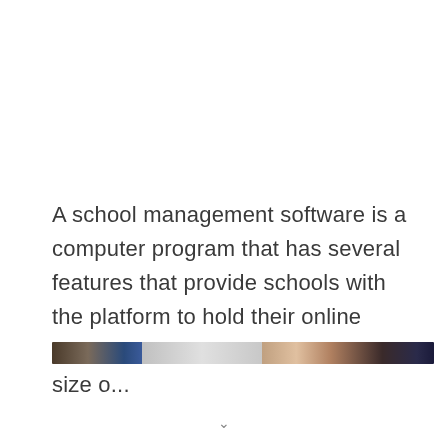A school management software is a computer program that has several features that provide schools with the platform to hold their online classes. Every school, regardless of size o...
[Figure (photo): A horizontal strip showing a partial cropped image with dark, grey, and brown tones, appearing to be a blurred or cropped photograph.]